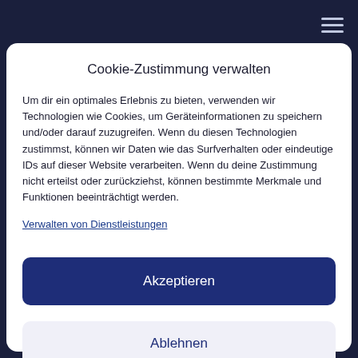Cookie-Zustimmung verwalten
Um dir ein optimales Erlebnis zu bieten, verwenden wir Technologien wie Cookies, um Geräteinformationen zu speichern und/oder darauf zuzugreifen. Wenn du diesen Technologien zustimmst, können wir Daten wie das Surfverhalten oder eindeutige IDs auf dieser Website verarbeiten. Wenn du deine Zustimmung nicht erteilst oder zurückziehst, können bestimmte Merkmale und Funktionen beeinträchtigt werden.
Verwalten von Dienstleistungen
Akzeptieren
Ablehnen
Einstellungen ansehen
Cookie-Richtlinie  Datenschutz  Impressum